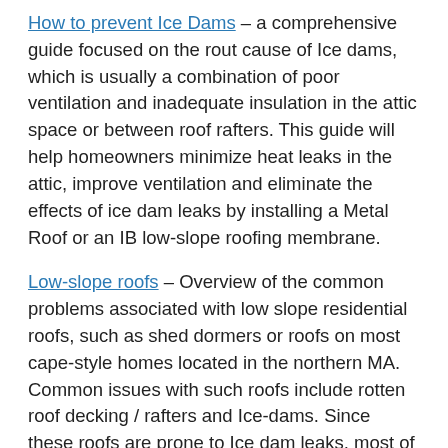How to prevent Ice Dams – a comprehensive guide focused on the rout cause of Ice dams, which is usually a combination of poor ventilation and inadequate insulation in the attic space or between roof rafters. This guide will help homeowners minimize heat leaks in the attic, improve ventilation and eliminate the effects of ice dam leaks by installing a Metal Roof or an IB low-slope roofing membrane.
Low-slope roofs – Overview of the common problems associated with low slope residential roofs, such as shed dormers or roofs on most cape-style homes located in the northern MA. Common issues with such roofs include rotten roof decking / rafters and Ice-dams. Since these roofs are prone to Ice dam leaks, most of the rot damage is an effect of ice dams. Although many roofing contractors will insist that using